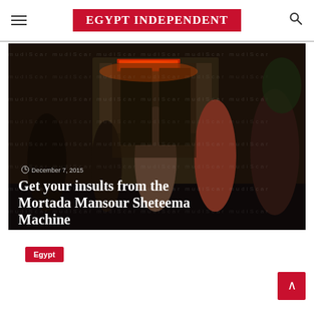EGYPT INDEPENDENT
[Figure (photo): Group of men standing outside at night near a building with neon lighting. A watermark reading 'mudiScar' repeats across the image. Date overlay reads December 7, 2015.]
Get your insults from the Mortada Mansour Sheteema Machine
Egypt